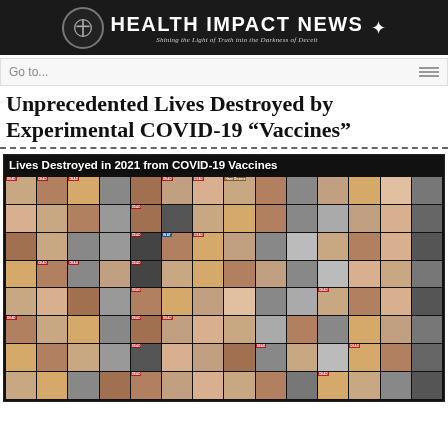HEALTH IMPACT NEWS — Shining the Light of Truth into the Darkness of Deceit
Go to...
Unprecedented Lives Destroyed by Experimental COVID-19 "Vaccines"
[Figure (photo): Collage of photos of people with caption 'Lives Destroyed in 2021 from COVID-19 Vaccines'. Many photos are labeled DEAD, with ages noted. Includes ordinary people and medical professionals.]